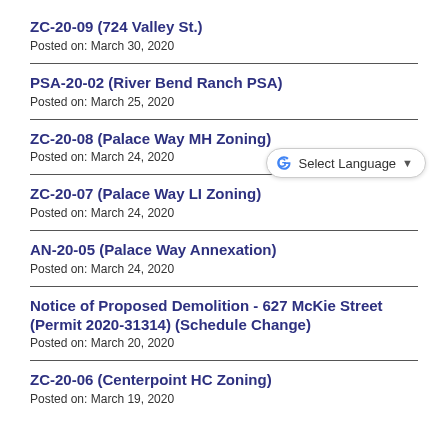ZC-20-09 (724 Valley St.)
Posted on: March 30, 2020
PSA-20-02 (River Bend Ranch PSA)
Posted on: March 25, 2020
ZC-20-08 (Palace Way MH Zoning)
Posted on: March 24, 2020
ZC-20-07 (Palace Way LI Zoning)
Posted on: March 24, 2020
AN-20-05 (Palace Way Annexation)
Posted on: March 24, 2020
Notice of Proposed Demolition - 627 McKie Street (Permit 2020-31314) (Schedule Change)
Posted on: March 20, 2020
ZC-20-06 (Centerpoint HC Zoning)
Posted on: March 19, 2020